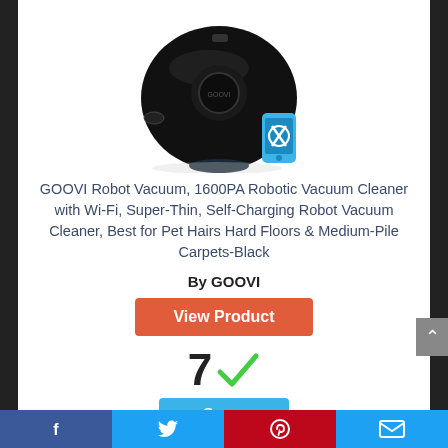[Figure (photo): Product photo of the GOOVI Robot Vacuum, a round black robotic vacuum cleaner with a small smartphone/app icon beside it]
GOOVI Robot Vacuum, 1600PA Robotic Vacuum Cleaner with Wi-Fi, Super-Thin, Self-Charging Robot Vacuum Cleaner, Best for Pet Hairs Hard Floors & Medium-Pile Carpets-Black
By GOOVI
View Product
7 ✓
Score
Facebook | Twitter | Pinterest | Email